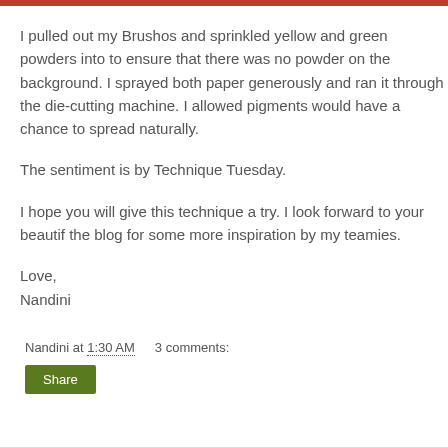I pulled out my Brushos and sprinkled yellow and green powders into to ensure that there was no powder on the background. I sprayed both paper generously and ran it through the die-cutting machine. I allowed pigments would have a chance to spread naturally.
The sentiment is by Technique Tuesday.
I hope you will give this technique a try. I look forward to your beautif the blog for some more inspiration by my teamies.
Love,
Nandini
Nandini at 1:30 AM    3 comments:
Share